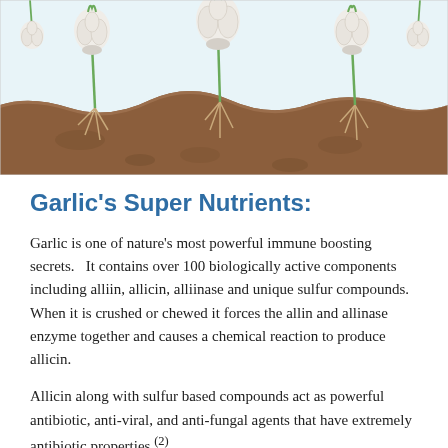[Figure (illustration): Illustration of garlic bulbs hanging above ground and roots visible below the soil surface, showing a cross-section of earth with brown soil tones and a wavy ground line.]
Garlic's Super Nutrients:
Garlic is one of nature's most powerful immune boosting secrets.   It contains over 100 biologically active components including alliin, allicin, alliinase and unique sulfur compounds.  When it is crushed or chewed it forces the allin and allinase enzyme together and causes a chemical reaction to produce allicin.
Allicin along with sulfur based compounds act as powerful antibiotic, anti-viral, and anti-fungal agents that have extraordinary antibiotic properties.(2)